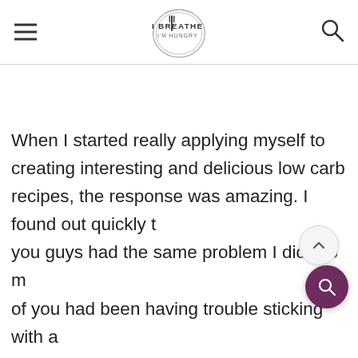I BREATHE I'M HUNGRY
When I started really applying myself to creating interesting and delicious low carb recipes, the response was amazing. I found out quickly that you guys had the same problem I did! So many of you had been having trouble sticking with a low carb plan, even though it was working,